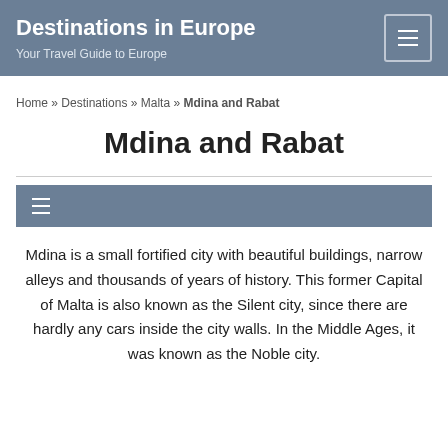Destinations in Europe — Your Travel Guide to Europe
Home » Destinations » Malta » Mdina and Rabat
Mdina and Rabat
Mdina is a small fortified city with beautiful buildings, narrow alleys and thousands of years of history. This former Capital of Malta is also known as the Silent city, since there are hardly any cars inside the city walls. In the Middle Ages, it was known as the Noble city.